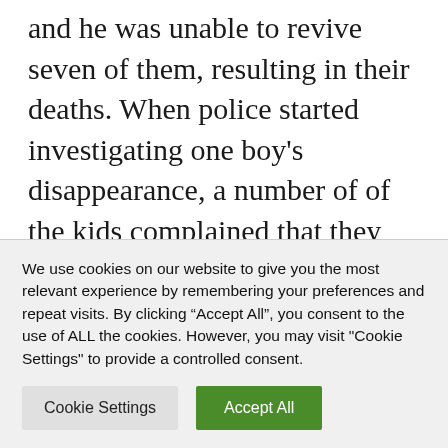and he was unable to revive seven of them, resulting in their deaths. When police started investigating one boy's disappearance, a number of of the kids complained that they had suffered “momentary amnesia” from the issues Slivko did to them. The images and testimonies have been sufficient to cost Slivko, and he was executed by firing squad
We use cookies on our website to give you the most relevant experience by remembering your preferences and repeat visits. By clicking “Accept All”, you consent to the use of ALL the cookies. However, you may visit "Cookie Settings" to provide a controlled consent.